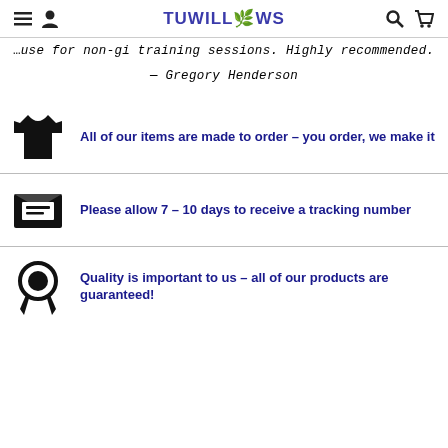TUWILLOWS
use for non-gi training sessions. Highly recommended.
— Gregory Henderson
All of our items are made to order – you order, we make it
Please allow 7 – 10 days to receive a tracking number
Quality is important to us – all of our products are guaranteed!